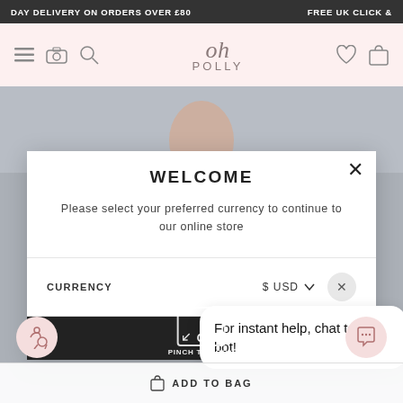DAY DELIVERY ON ORDERS OVER £80   FREE UK CLICK &
[Figure (screenshot): Oh Polly website header with logo, navigation icons (hamburger, camera, search on left; heart, bag on right), on a pink/blush background]
[Figure (screenshot): Product page background showing a model in a dress, partially obscured by modal overlay]
WELCOME
Please select your preferred currency to continue to our online store
CURRENCY   $ USD
For instant help, chat to our bot!
ADD TO BAG
PINCH TO ZOOM